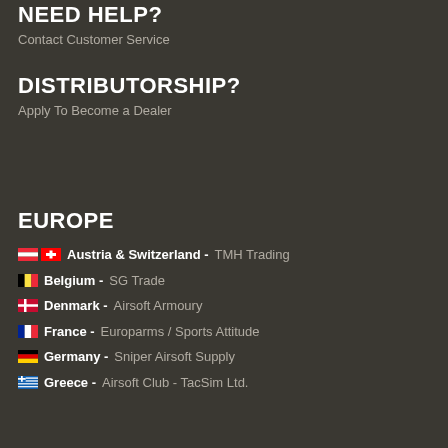NEED HELP?
Contact Customer Service
DISTRIBUTORSHIP?
Apply To Become a Dealer
EUROPE
Austria & Switzerland - TMH Trading
Belgium - SG Trade
Denmark - Airsoft Armoury
France - Europarms / Sports Attitude
Germany - Sniper Airsoft Supply
Greece - Airsoft Club - TacSim Ltd.